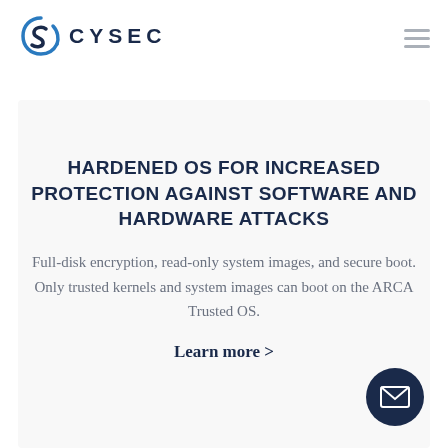[Figure (logo): CYSEC logo with stylized S icon in dark blue and blue, followed by CYSEC text in dark navy capital letters]
HARDENED OS FOR INCREASED PROTECTION AGAINST SOFTWARE AND HARDWARE ATTACKS
Full-disk encryption, read-only system images, and secure boot. Only trusted kernels and system images can boot on the ARCA Trusted OS.
Learn more >